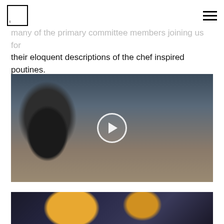[Logo] [Hamburger menu]
many of the primary committee members joining us for their eloquent descriptions of the chef inspired poutines.
[Figure (photo): A video thumbnail showing three people sitting at a restaurant table. On the left is a bearded man with a dark red/maroon beanie wearing a black long-sleeve shirt. In the middle is a blonde woman in a striped shirt. On the right is a blonde woman wearing a pink beanie and grey sweater. On the table are drinks including what appears to be orange juice and green cocktails, and a white bowl. A circular play button overlay is visible in the center of the image.]
[Figure (photo): A partially visible photo of what appears to be a bar or restaurant interior at night, with warm glowing lights visible.]